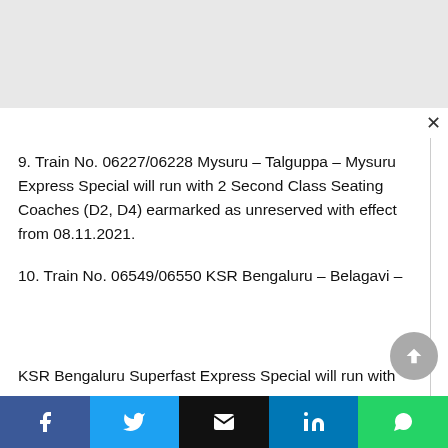9. Train No. 06227/06228 Mysuru – Talguppa – Mysuru Express Special will run with 2 Second Class Seating Coaches (D2, D4) earmarked as unreserved with effect from 08.11.2021.
10. Train No. 06549/06550 KSR Bengaluru – Belagavi – KSR Bengaluru Superfast Express Special will run with